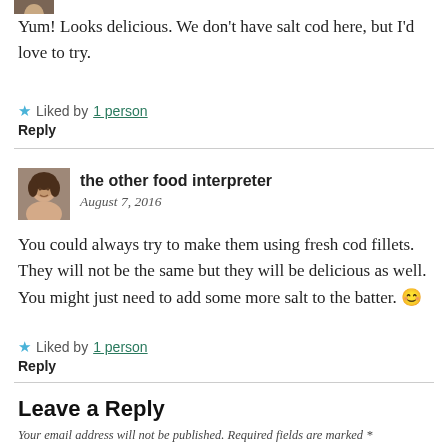[Figure (photo): Small partial avatar image at top of page, cropped]
Yum! Looks delicious. We don't have salt cod here, but I'd love to try.
★ Liked by 1 person
Reply
[Figure (photo): Avatar photo of a woman with dark hair, smiling]
the other food interpreter
August 7, 2016
You could always try to make them using fresh cod fillets. They will not be the same but they will be delicious as well. You might just need to add some more salt to the batter. 😊
★ Liked by 1 person
Reply
Leave a Reply
Your email address will not be published. Required fields are marked *